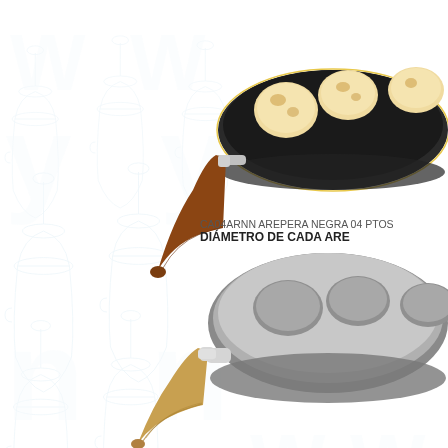[Figure (photo): Black arepera (arepa pan) with 4 circular molds, wooden handle, shown from above with cooked arepas/corn cakes inside the molds]
CA04ARNN AREPERA NEGRA 04 PTOS
DIÁMETRO DE CADA ARE
[Figure (photo): Silver/chrome arepera (arepa pan) with circular molds, wooden and metal handle, viewed from the side/bottom]
[Figure (illustration): Watermark background pattern with light blue moka pot / coffee maker illustrations repeated]